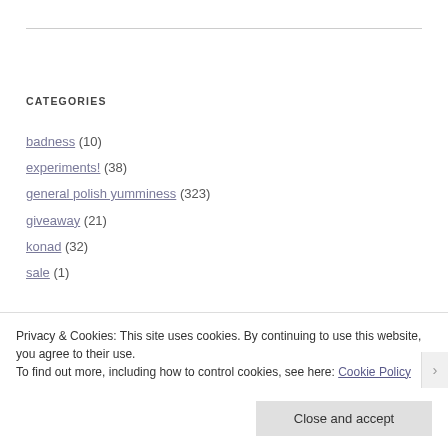CATEGORIES
badness (10)
experiments! (38)
general polish yumminess (323)
giveaway (21)
konad (32)
sale (1)
Privacy & Cookies: This site uses cookies. By continuing to use this website, you agree to their use.
To find out more, including how to control cookies, see here: Cookie Policy
Close and accept